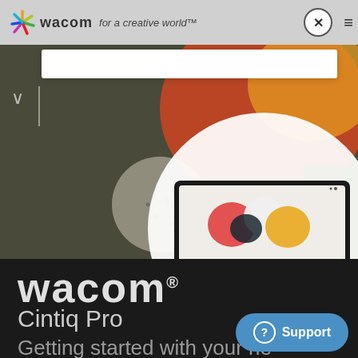[Figure (screenshot): Wacom website navigation bar with logo, 'for a creative world' tagline, close (X) button and hamburger menu]
[Figure (screenshot): White search bar overlay on top of hero banner area]
[Figure (screenshot): Website hero banner with dark olive/grey background, colorful food/fruit photography and a circular product showcase showing a Wacom Cintiq Pro display tablet]
wacom®
Cintiq Pro
Getting started with your ne
[Figure (screenshot): Blue 'Support' button with question mark icon in bottom right]